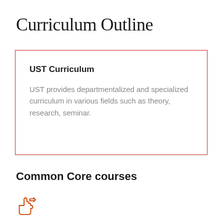Curriculum Outline
UST Curriculum
UST provides departmentalized and specialized curriculum in various fields such as theory, research, seminar.
Common Core courses
[Figure (illustration): A pointing hand cursor icon in red/orange outline style]